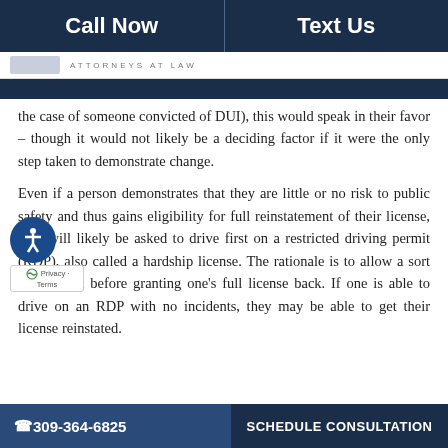Call Now | Text Us
[Figure (logo): Law firm logo bar with 'Attorneys at Law' text]
the case of someone convicted of DUI), this would speak in their favor – though it would not likely be a deciding factor if it were the only step taken to demonstrate change.
Even if a person demonstrates that they are little or no risk to public safety and thus gains eligibility for full reinstatement of their license, they will likely be asked to drive first on a restricted driving permit (RDP), also called a hardship license. The rationale is to allow a sort of trial run before granting one's full license back. If one is able to drive on an RDP with no incidents, they may be able to get their license reinstated.
📞 309-364-6825 | SCHEDULE CONSULTATION